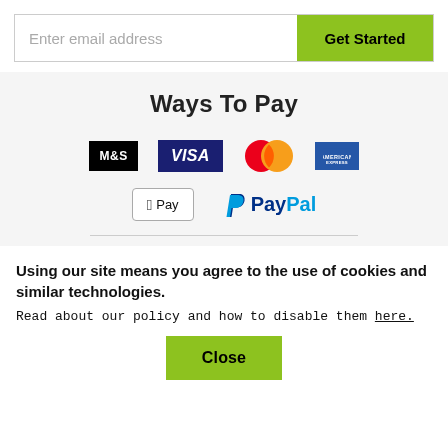Enter email address
Get Started
Ways To Pay
[Figure (logo): Payment method logos: M&S, Visa, Mastercard, American Express, Apple Pay, PayPal]
Using our site means you agree to the use of cookies and similar technologies.
Read about our policy and how to disable them here.
Close